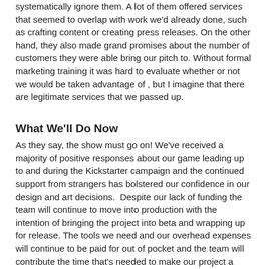systematically ignore them. A lot of them offered services that seemed to overlap with work we'd already done, such as crafting content or creating press releases. On the other hand, they also made grand promises about the number of customers they were able bring our pitch to. Without formal marketing training it was hard to evaluate whether or not we would be taken advantage of , but I imagine that there are legitimate services that we passed up.
What We'll Do Now
As they say, the show must go on! We've received a majority of positive responses about our game leading up to and during the Kickstarter campaign and the continued support from strangers has bolstered our confidence in our design and art decisions.  Despite our lack of funding the team will continue to move into production with the intention of bringing the project into beta and wrapping up for release. The tools we need and our overhead expenses will continue to be paid for out of pocket and the team will contribute the time that's needed to make our project a reality.